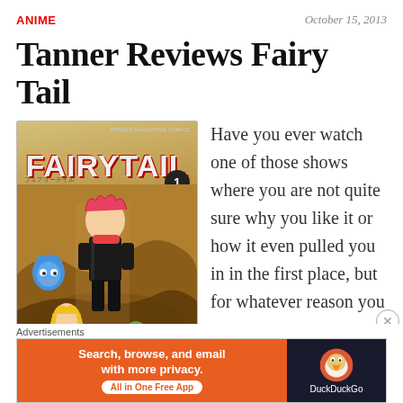ANIME | October 15, 2013
Tanner Reviews Fairy Tail
[Figure (illustration): Fairy Tail manga volume 1 cover showing the main characters including Natsu and Lucy with the blue cat Happy]
Have you ever watch one of those shows where you are not quite sure why you like it or how it even pulled you in in the first place, but for whatever reason you
Advertisements
[Figure (other): DuckDuckGo advertisement banner: Search, browse, and email with more privacy. All in One Free App.]